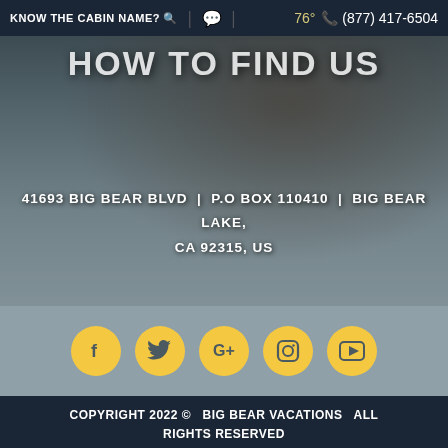KNOW THE CABIN NAME? | 76° (877) 417-6504
HOW TO FIND US
41693 BIG BEAR BLVD | P.O BOX 110410 | BIG BEAR LAKE, CA 92315, US
[Figure (other): Social media icon buttons: Facebook, Twitter, Google+, Instagram, YouTube — golden circular icons on gray background]
COPYRIGHT 2022 © BIG BEAR VACATIONS ALL RIGHTS RESERVED
[Figure (logo): BIZCOR logo badge: STRATEGIC ONLINE MARKETING BY BIZCOR in dark background with green border]